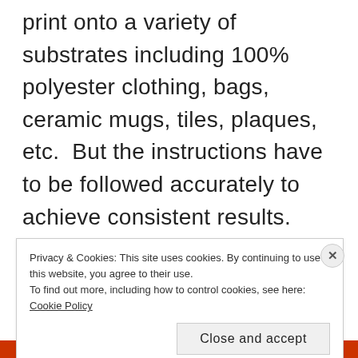print onto a variety of substrates including 100% polyester clothing, bags, ceramic mugs, tiles, plaques, etc.  But the instructions have to be followed accurately to achieve consistent results.  Also the setup of your sublimation printer has to be correct.  Sawgrass (A Manufacturer of sublimation inks) has posted excellent videos of how to setup your sublimation printers.  Here are some useful links below for your reference.
Privacy & Cookies: This site uses cookies. By continuing to use this website, you agree to their use.
To find out more, including how to control cookies, see here: Cookie Policy